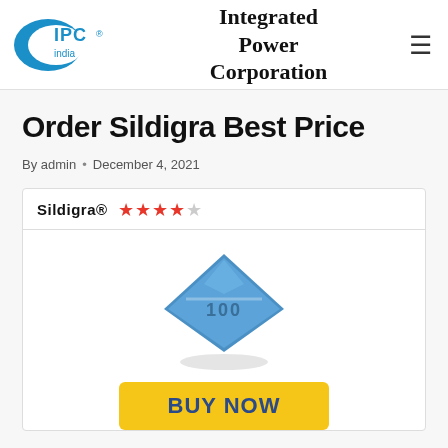[Figure (logo): IPC india logo with blue crescent/swoosh shape and 'IPC india' text, registered trademark symbol]
Integrated Power Corporation
Order Sildigra Best Price
By admin • December 4, 2021
[Figure (other): Sildigra® drug product card showing product name, 4.5-star rating in red stars, blue diamond-shaped pill labeled 100, and a yellow BUY NOW button]